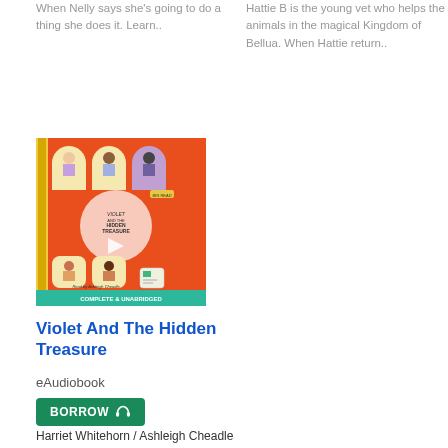When Nelly says she's going to do a thing she does it. Learn..
Hattie B is the young vet who helps the animals in the magical Kingdom of Bellua. When Hattie return..
[Figure (illustration): Book cover for 'Violet And The Hidden Treasure' - orange/red background with illustrated children in arched windows and a play button overlay, teal bottom banner reading 'COMPLETE & UNABRIDGED']
Violet And The Hidden Treasure
eAudiobook
BORROW
Harriet Whitehorn / Ashleigh Cheadle